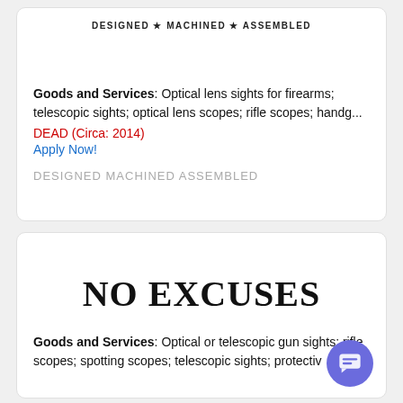DESIGNED ★ MACHINED ★ ASSEMBLED
Goods and Services: Optical lens sights for firearms; telescopic sights; optical lens scopes; rifle scopes; handg...
DEAD (Circa: 2014)
Apply Now!
DESIGNED MACHINED ASSEMBLED
NO EXCUSES
Goods and Services: Optical or telescopic gun sights; rifle scopes; spotting scopes; telescopic sights; protectiv